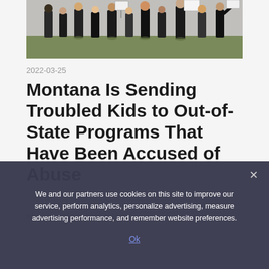[Figure (photo): Outdoor protest march, people walking and holding signs, dressed in black, on a sunny day]
2022-03-25
Montana Is Sending Troubled Kids to Out-of-State Programs That Have Been Accused of Abuse
HEALTH PROBLEMS NEWS
We and our partners use cookies on this site to improve our service, perform analytics, personalize advertising, measure advertising performance, and remember website preferences.
Ok